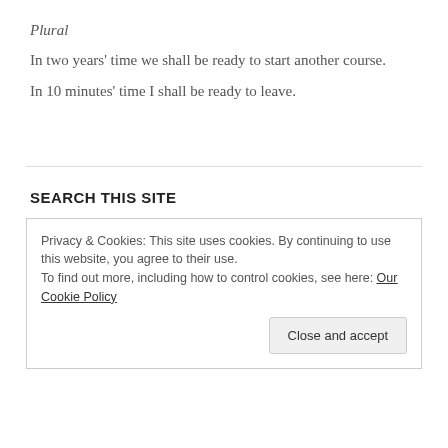Plural
In two years' time we shall be ready to start another course.
In 10 minutes' time I shall be ready to leave.
SEARCH THIS SITE
Privacy & Cookies: This site uses cookies. By continuing to use this website, you agree to their use.
To find out more, including how to control cookies, see here: Our Cookie Policy